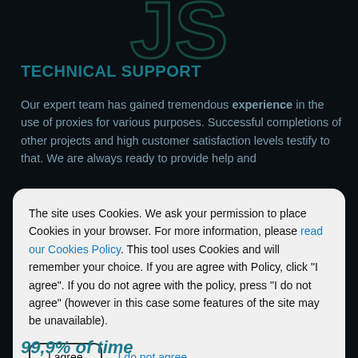[Figure (logo): Stylized 'JS' logo in teal/green outline on dark background]
TECHNICAL SUPPORT
Our expert team has gained tremendous experience in the use of proxies for various purposes. Successful completions of other projects and high customer satisfaction levels testify to that. We are always ready to provide help and
The site uses Cookies. We ask your permission to place Cookies in your browser. For more information, please read our Cookies Policy. This tool uses Cookies and will remember your choice. If you are agree with Policy, click "I agree". If you do not agree with the policy, press "I do not agree" (however in this case some features of the site may be unavailable).
99,9% of time